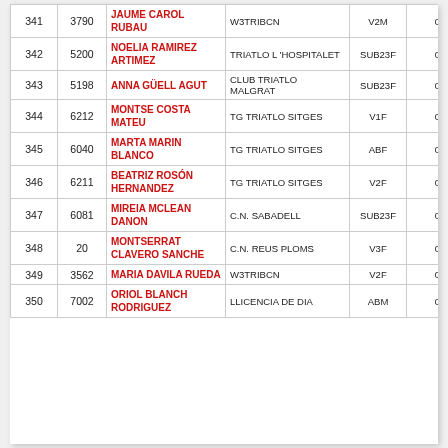| Pos | Dorsal | Nom | Club | Cat | Temps |
| --- | --- | --- | --- | --- | --- |
| 341 | 3790 | JAUME CAROL RUBAU | W3TRIBCN | V2M | 01:45:1: |
| 342 | 5200 | NOELIA RAMIREZ ARTIMEZ | TRIATLO L'HOSPITALET | SUB23F | 01:46:0: |
| 343 | 5198 | ANNA GÜELL AGUT | CLUB TRIATLO MALGRAT | SUB23F | 01:48:0: |
| 344 | 6212 | MONTSE COSTA MATEU | TG TRIATLO SITGES | V1F | 01:50:3: |
| 345 | 6040 | MARTA MARIN BLANCO | TG TRIATLO SITGES | ABF | 01:50:3: |
| 346 | 6211 | BEATRIZ ROSÓN HERNANDEZ | TG TRIATLO SITGES | V2F | 01:52:2: |
| 347 | 6081 | MIREIA MCLEAN DANON | C.N. SABADELL | SUB23F | 01:54:4: |
| 348 | 20 | MONTSERRAT CLAVERO SANCHE | C.N. REUS PLOMS | V3F | 01:59:4: |
| 349 | 3562 | MARIA DAVILA RUEDA | W3TRIBCN | V2F | 02:02:2: |
| 350 | 7002 | ORIOL BLANCH RODRIGUEZ | LLICENCIA DE DIA | ABM | 02:08:2: |